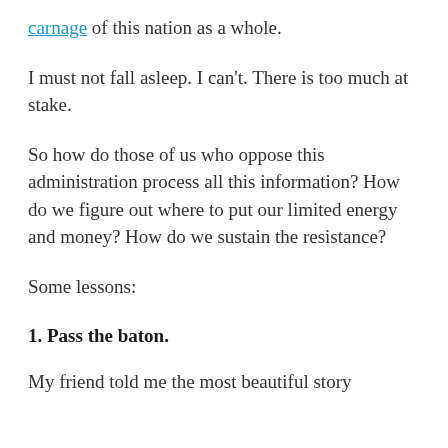carnage of this nation as a whole.
I must not fall asleep. I can't. There is too much at stake.
So how do those of us who oppose this administration process all this information? How do we figure out where to put our limited energy and money? How do we sustain the resistance?
Some lessons:
1. Pass the baton.
My friend told me the most beautiful story about...